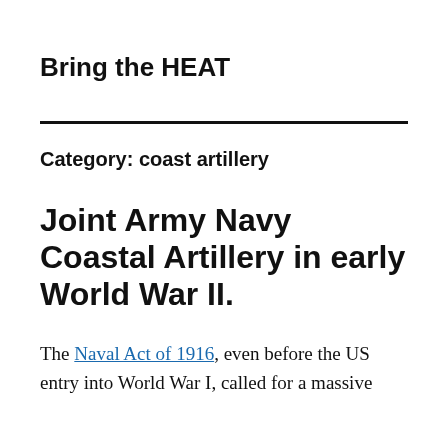Bring the HEAT
Category: coast artillery
Joint Army Navy Coastal Artillery in early World War II.
The Naval Act of 1916, even before the US entry into World War I, called for a massive